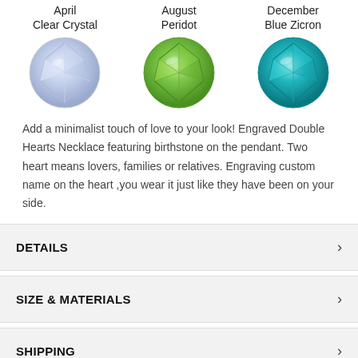[Figure (illustration): Three gem stones in a row: April Clear Crystal (pale blue/white faceted gem), August Peridot (green faceted gem), December Blue Zicron (teal/blue faceted gem)]
Add a minimalist touch of love to your look! Engraved Double Hearts Necklace featuring birthstone on the pendant. Two heart means lovers, families or relatives. Engraving custom name on the heart ,you wear it just like they have been on your side.
DETAILS
SIZE & MATERIALS
SHIPPING
REVIEWS 4/5 (63)